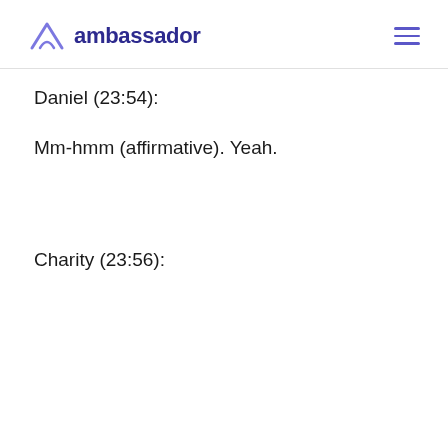ambassador
Daniel (23:54):
Mm-hmm (affirmative). Yeah.
Charity (23:56):